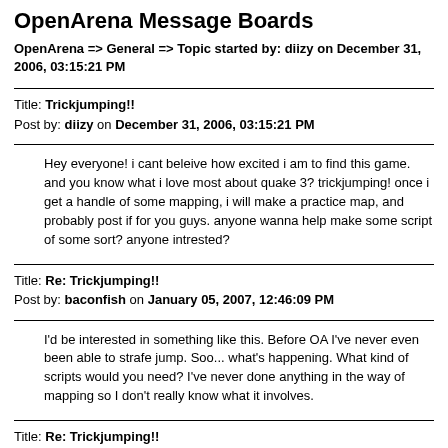OpenArena Message Boards
OpenArena => General => Topic started by: diizy on December 31, 2006, 03:15:21 PM
Title: Trickjumping!!
Post by: diizy on December 31, 2006, 03:15:21 PM
Hey everyone! i cant beleive how excited i am to find this game. and you know what i love most about quake 3? trickjumping! once i get a handle of some mapping, i will make a practice map, and probably post if for you guys. anyone wanna help make some script of some sort? anyone intrested?
Title: Re: Trickjumping!!
Post by: baconfish on January 05, 2007, 12:46:09 PM
I'd be interested in something like this. Before OA I've never even been able to strafe jump. Soo... what's happening. What kind of scripts would you need? I've never done anything in the way of mapping so I don't really know what it involves.
Title: Re: Trickjumping!!
Post by: Gloom on January 06, 2007, 04:37:03 AM